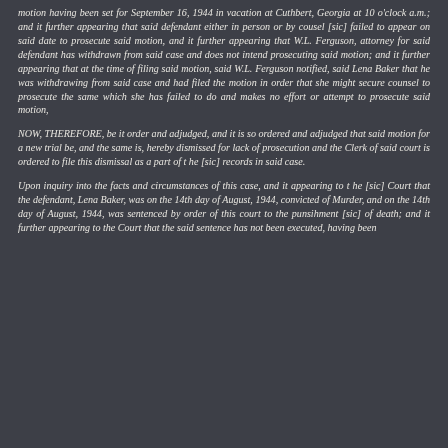motion having been set for September 16, 1944 in vacation at Cuthbert, Georgia at 10 o'clock a.m.; and it further appearing that said defendant either in person or by cousel [sic] failed to appear on said date to prosecute said motion, and it further appearing that W.L. Ferguson, attorney for said defendant has withdrawn from said case and does not intend prosecuting said motion; and it further appearing that at the time of filing said motion, said W.L. Ferguson notified, said Lena Baker that he was withdrawing from said case and had filed the motion in order that she might secure counsel to prosecute the same which she has failed to do and makes no effort or attempt to prosecute said motion,
NOW, THEREFORE, be it order and adjudged, and it is so ordered and adjudged that said motion for a new trial be, and the same is, hereby dismissed for lack of prosecution and the Clerk of said court is ordered to file this dismissal as a part of t he [sic] records in said case.
Upon inquiry into the facts and circumstances of this case, and it appearing to t he [sic] Court that the defendant, Lena Baker, was on the 14th day of August, 1944, convicted of Murder, and on the 14th day of August, 1944, was sentenced by order of this court to the punsihment [sic] of death; and it further appearing to the Court that the said sentence has not been executed, having been